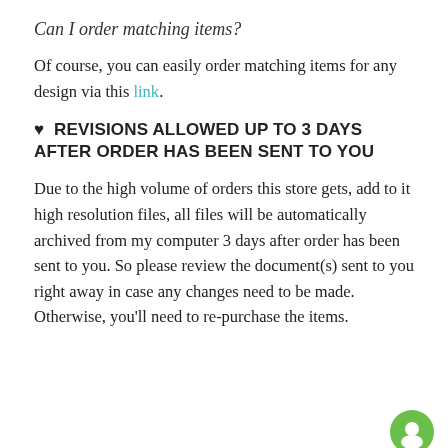Can I order matching items?
Of course, you can easily order matching items for any design via this link.
♥  REVISIONS ALLOWED UP TO 3 DAYS AFTER ORDER HAS BEEN SENT TO YOU
Due to the high volume of orders this store gets, add to it high resolution files, all files will be automatically archived from my computer 3 days after order has been sent to you. So please review the document(s) sent to you right away in case any changes need to be made. Otherwise, you'll need to re-purchase the items.